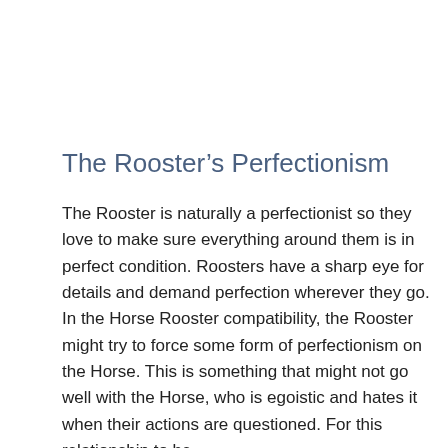The Rooster’s Perfectionism
The Rooster is naturally a perfectionist so they love to make sure everything around them is in perfect condition. Roosters have a sharp eye for details and demand perfection wherever they go. In the Horse Rooster compatibility, the Rooster might try to force some form of perfectionism on the Horse. This is something that might not go well with the Horse, who is egoistic and hates it when their actions are questioned. For this relationship to be